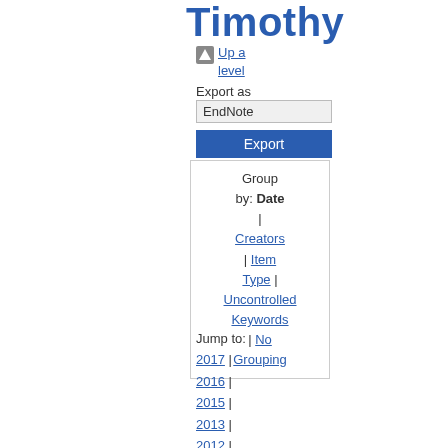Timothy
Up a level
Export as
EndNote
Export
Group by: Date | Creators | Item Type | Uncontrolled Keywords | No Grouping
Jump to: 2017 | 2016 | 2015 | 2013 | 2012 | 2011
Number of items: 13.